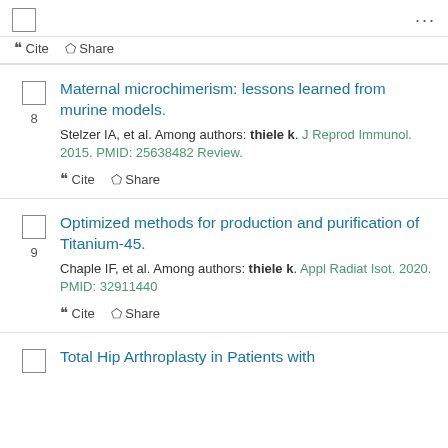checkbox | ellipsis menu
Cite  Share (top bar)
8. Maternal microchimerism: lessons learned from murine models. Stelzer IA, et al. Among authors: thiele k. J Reprod Immunol. 2015. PMID: 25638482 Review.
Cite  Share
9. Optimized methods for production and purification of Titanium-45. Chaple IF, et al. Among authors: thiele k. Appl Radiat Isot. 2020. PMID: 32911440
Cite  Share
Total Hip Arthroplasty in Patients with ...